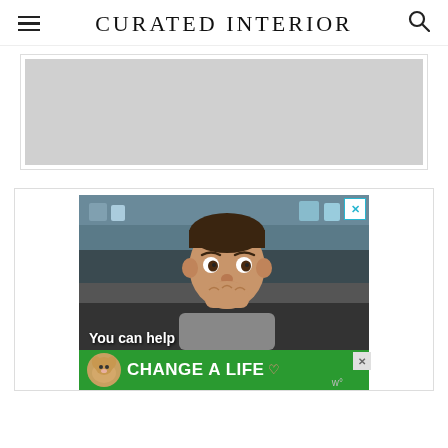CURATED INTERIOR
[Figure (screenshot): Gray advertisement placeholder box with border]
[Figure (photo): Advertisement showing a young child in a classroom with text 'You can help' and a green banner 'CHANGE A LIFE']